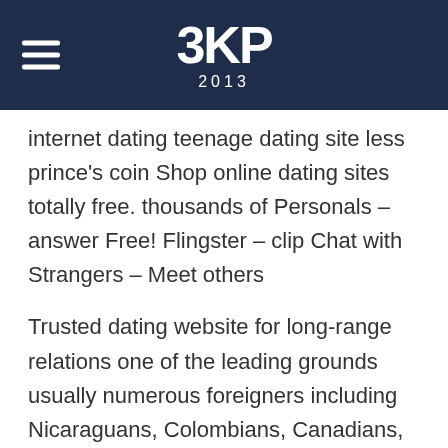3KP 2013
internet dating teenage dating site less prince's coin Shop online dating sites totally free. thousands of Personals – answer Free! Flingster – clip Chat with Strangers – Meet others
Trusted dating website for long-range relations one of the leading grounds usually numerous foreigners including Nicaraguans, Colombians, Canadians, and People in the us incorporate union with the intention to obtain their unique residency and then simply divorce process. Might saw by 10K users over the past month locate appealing ukrainian sweetheart. So that